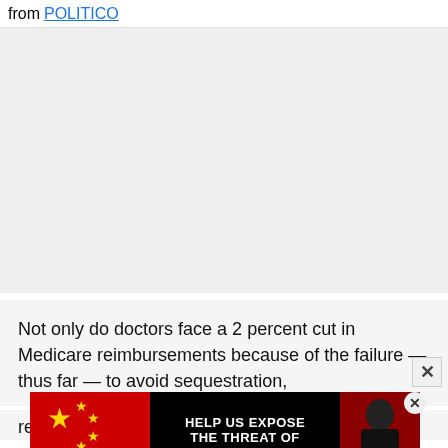from POLITICO
[Figure (other): Gray placeholder advertisement block]
Not only do doctors face a 2 percent cut in Medicare reimbursements because of the failure — thus far — to avoid sequestration,
[Figure (other): Advertisement banner: HELP US EXPOSE THE THREAT OF COMMUNIST CHINA with Chinese flag imagery and photo of Xi Jinping]
reduction in pay in the absence of a deal to fix the Medicare payment system